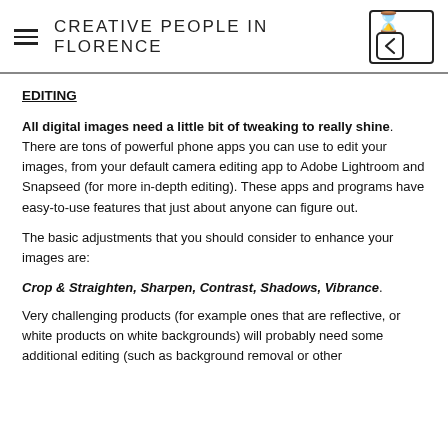CREATIVE PEOPLE IN FLORENCE
EDITING
All digital images need a little bit of tweaking to really shine. There are tons of powerful phone apps you can use to edit your images, from your default camera editing app to Adobe Lightroom and Snapseed (for more in-depth editing). These apps and programs have easy-to-use features that just about anyone can figure out.
The basic adjustments that you should consider to enhance your images are:
Crop & Straighten, Sharpen, Contrast, Shadows, Vibrance.
Very challenging products (for example ones that are reflective, or white products on white backgrounds) will probably need some additional editing (such as background removal or other